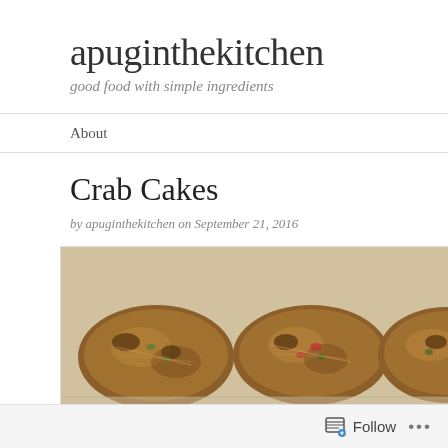apuginthekitchen
good food with simple ingredients
About
Crab Cakes
by apuginthekitchen on September 21, 2016
[Figure (photo): Three golden-brown crab cakes on parchment paper, viewed from above at an angle]
Follow ...